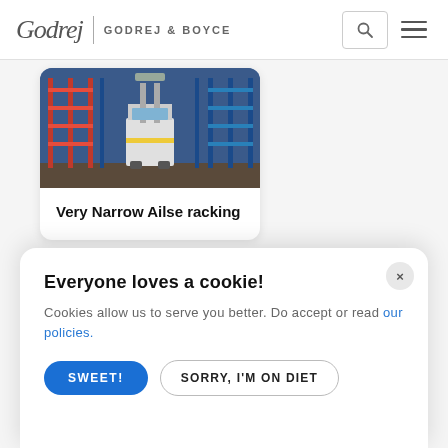Godrej & Boyce
[Figure (photo): Warehouse with very narrow aisle racking system and forklift truck between tall blue and red metal shelving racks]
Very Narrow Ailse racking
Everyone loves a cookie!
Cookies allow us to serve you better. Do accept or read our policies.
SWEET!
SORRY, I'M ON DIET